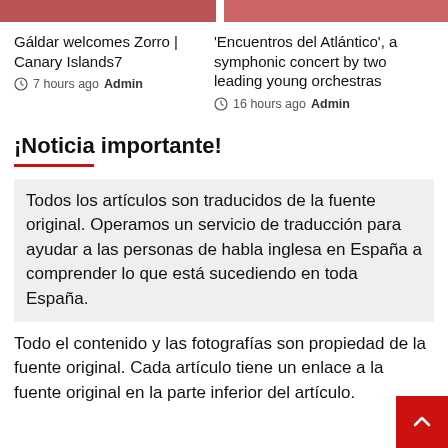[Figure (photo): Two cropped news article photos at top: left shows people outdoors, right shows a performance or event scene]
Gáldar welcomes Zorro | Canary Islands7
7 hours ago Admin
'Encuentros del Atlántico', a symphonic concert by two leading young orchestras
16 hours ago Admin
¡Noticia importante!
Todos los artículos son traducidos de la fuente original. Operamos un servicio de traducción para ayudar a las personas de habla inglesa en España a comprender lo que está sucediendo en toda España.
Todo el contenido y las fotografías son propiedad de la fuente original. Cada artículo tiene un enlace a la fuente original en la parte inferior del artículo.